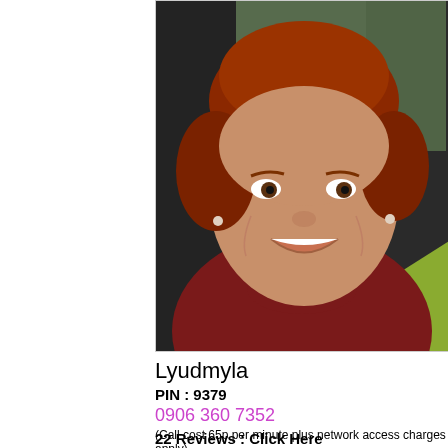[Figure (photo): Portrait photo of a smiling woman named Lyudmyla with short red/auburn hair, wearing a maroon/dark red turtleneck sweater, outdoors background]
Lyudmyla
PIN : 9379
0906 360 7352
(Call cost 65p per minute plus network access charges apply)
22 Reviews : Click Here